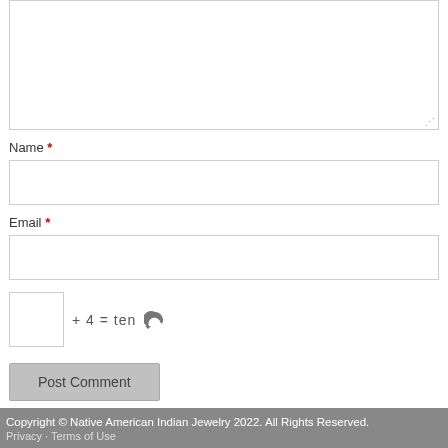[Figure (other): Comment textarea input box (partially visible, resizable)]
Name *
[Figure (other): Name text input field]
Email *
[Figure (other): Email text input field]
[Figure (other): CAPTCHA row: small input box + '+ 4 = ten' + refresh icon]
[Figure (other): Post Comment button]
Copyright © Native American Indian Jewelry 2022. All Rights Reserved.